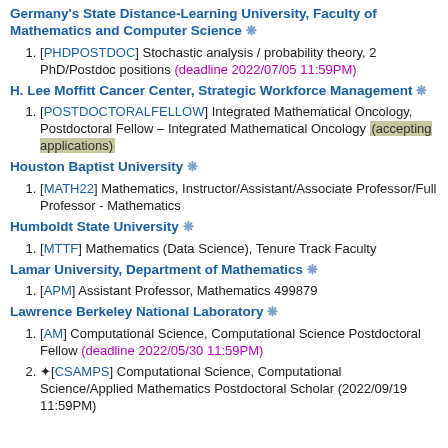Germany's State Distance-Learning University, Faculty of Mathematics and Computer Science ❋
[PHDPOSTDOC] Stochastic analysis / probability theory, 2 PhD/Postdoc positions (deadline 2022/07/05 11:59PM)
H. Lee Moffitt Cancer Center, Strategic Workforce Management ❋
[POSTDOCTORALFELLOW] Integrated Mathematical Oncology, Postdoctoral Fellow – Integrated Mathematical Oncology (accepting applications)
Houston Baptist University ❋
[MATH22] Mathematics, Instructor/Assistant/Associate Professor/Full Professor - Mathematics
Humboldt State University ❋
[MTTF] Mathematics (Data Science), Tenure Track Faculty
Lamar University, Department of Mathematics ❋
[APM] Assistant Professor, Mathematics 499879
Lawrence Berkeley National Laboratory ❋
[AM] Computational Science, Computational Science Postdoctoral Fellow (deadline 2022/05/30 11:59PM)
☆[CSAMPS] Computational Science, Computational Science/Applied Mathematics Postdoctoral Scholar (2022/09/19 11:59PM)